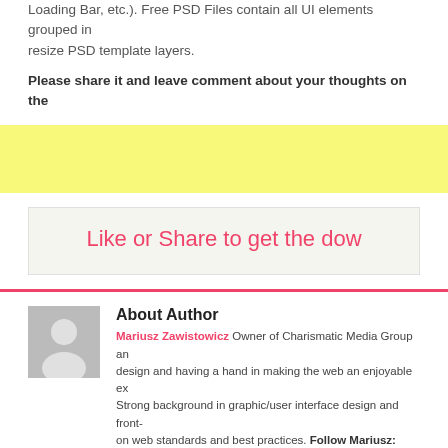Loading Bar, etc.). Free PSD Files contain all UI elements grouped in resize PSD template layers.
Please share it and leave comment about your thoughts on the
[Figure (other): Yellow advertisement banner strip]
Like or Share to get the dow
About Author
Mariusz Zawistowicz Owner of Charismatic Media Group and design and having a hand in making the web an enjoyable exp Strong background in graphic/user interface design and front- on web standards and best practices. Follow Mariusz: Twitte